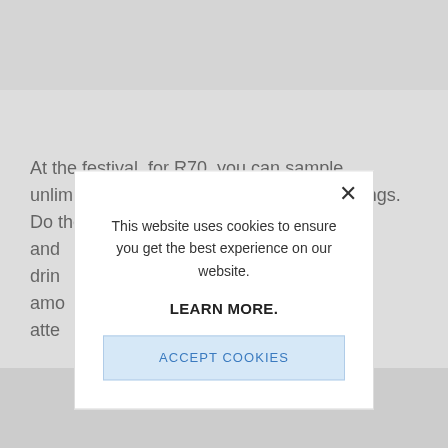At the festival, for R70, you can sample unlimited wine. At least 16 farms offer tastings. Do the maths and drin amo atte
The from won vine and
[Figure (screenshot): Cookie consent modal dialog overlaying a webpage. The modal contains a close button (×) in the top right, text reading 'This website uses cookies to ensure you get the best experience on our website.', a bold link 'LEARN MORE.', and a light blue button labeled 'ACCEPT COOKIES'.]